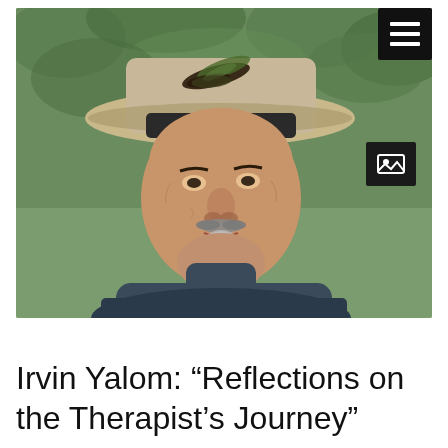[Figure (photo): Portrait photograph of an older man with a grey goatee and mustache wearing a tan/beige wide-brimmed hat with feather decoration and a dark navy turtleneck sweater. He is looking slightly to the right. Background is blurred green foliage.]
Irvin Yalom: “Reflections on the Therapist’s Journey”